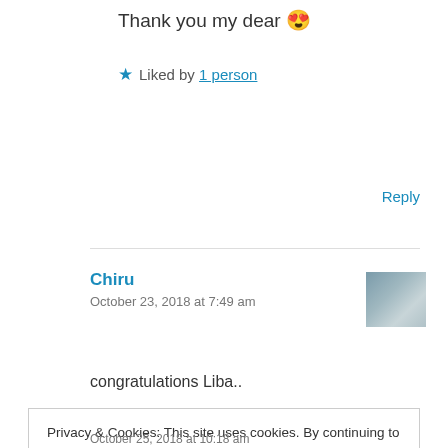Thank you my dear 😍
★ Liked by 1 person
Reply
Chiru
October 23, 2018 at 7:49 am
congratulations Liba..
Privacy & Cookies: This site uses cookies. By continuing to use this website, you agree to their use. To find out more, including how to control cookies, see here: Cookie Policy
Close and accept
October 25, 2018 at 10:18 am